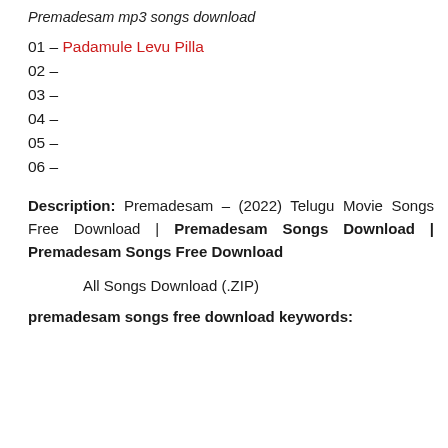Premadesam mp3 songs download
01 – Padamule Levu Pilla
02 –
03 –
04 –
05 –
06 –
Description: Premadesam – (2022) Telugu Movie Songs Free Download | Premadesam Songs Download | Premadesam Songs Free Download
All Songs Download (.ZIP)
premadesam songs free download keywords: